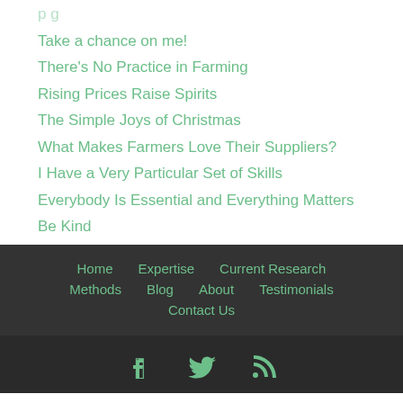Take a chance on me!
There's No Practice in Farming
Rising Prices Raise Spirits
The Simple Joys of Christmas
What Makes Farmers Love Their Suppliers?
I Have a Very Particular Set of Skills
Everybody Is Essential and Everything Matters
Be Kind
Home  Expertise  Current Research  Methods  Blog  About  Testimonials  Contact Us
[Figure (illustration): Social media icons: Facebook, Twitter, RSS feed in green on dark background]